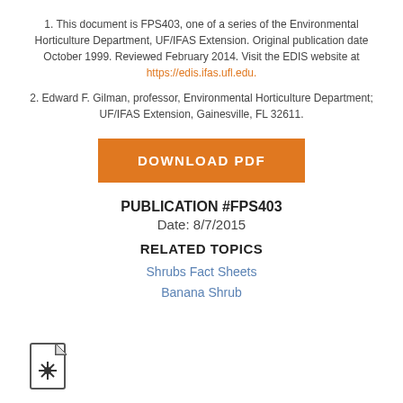1. This document is FPS403, one of a series of the Environmental Horticulture Department, UF/IFAS Extension. Original publication date October 1999. Reviewed February 2014. Visit the EDIS website at https://edis.ifas.ufl.edu.
2. Edward F. Gilman, professor, Environmental Horticulture Department; UF/IFAS Extension, Gainesville, FL 32611.
[Figure (other): Orange 'DOWNLOAD PDF' button]
PUBLICATION #FPS403
Date: 8/7/2015
RELATED TOPICS
Shrubs Fact Sheets
Banana Shrub
[Figure (illustration): Small document/flower icon at bottom left]